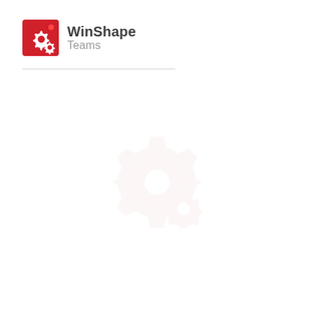[Figure (logo): WinShape Teams logo: red square with white gear icons, followed by text 'WinShape' in dark gray bold and 'Teams' in light gray below]